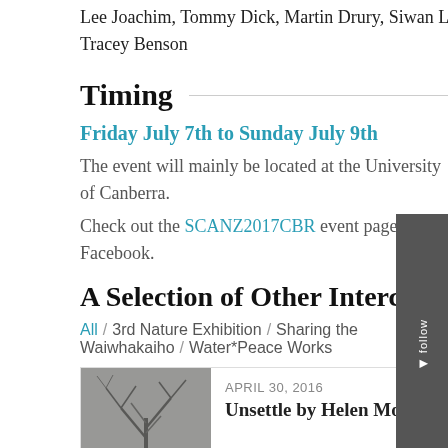Lee Joachim, Tommy Dick, Martin Drury, Siwan Lovett, Damian Wrigley, Kate Genevieve, Leah Barclay, Ian Clothier and Tracey Benson
Timing
Friday July 7th to Sunday July 9th
The event will mainly be located at the University of Canberra.
Check out the SCANZ2017CBR event page on Facebook.
A Selection of Other Intercreate Projects
All / 3rd Nature Exhibition / Sharing the Waiwhakaiho / Water*Peace Works
APRIL 30, 2016
Unsettle by Helen Moore
NOVEMBER 15, 2015